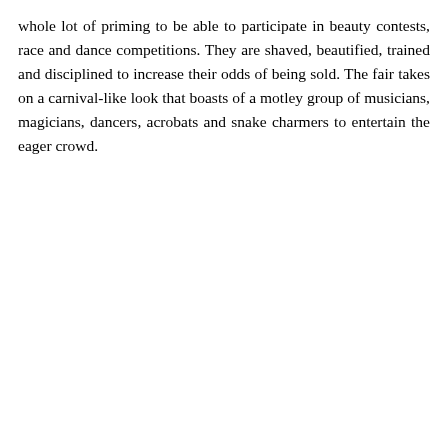whole lot of priming to be able to participate in beauty contests, race and dance competitions. They are shaved, beautified, trained and disciplined to increase their odds of being sold. The fair takes on a carnival-like look that boasts of a motley group of musicians, magicians, dancers, acrobats and snake charmers to entertain the eager crowd.